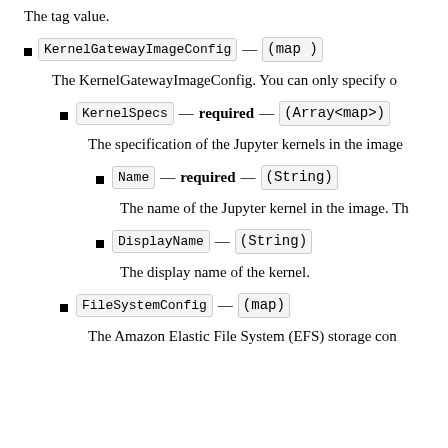The tag value.
KernelGatewayImageConfig — (map)
The KernelGatewayImageConfig. You can only specify o
KernelSpecs — required — (Array<map>)
The specification of the Jupyter kernels in the image
Name — required — (String)
The name of the Jupyter kernel in the image. Th
DisplayName — (String)
The display name of the kernel.
FileSystemConfig — (map)
The Amazon Elastic File System (EFS) storage con